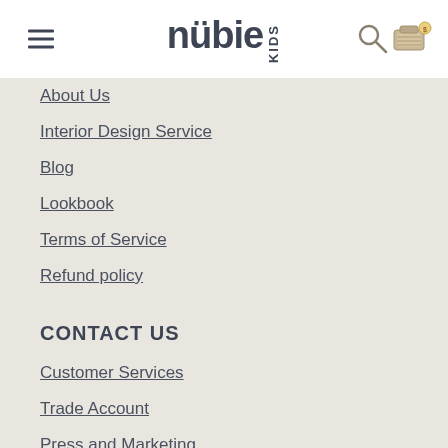nubie KIDS
About Us
Interior Design Service
Blog
Lookbook
Terms of Service
Refund policy
CONTACT US
Customer Services
Trade Account
Press and Marketing
SHOP WITH US
Delivery & Returns
Terms & Conditions
Klarna FAQ